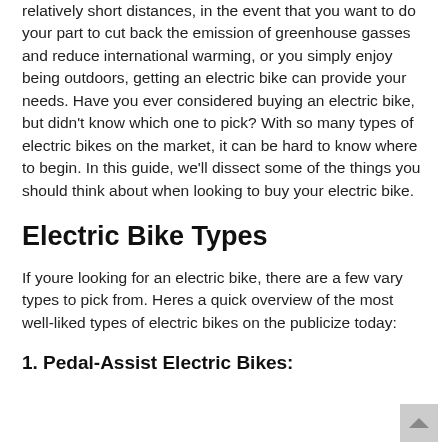relatively short distances, in the event that you want to do your part to cut back the emission of greenhouse gasses and reduce international warming, or you simply enjoy being outdoors, getting an electric bike can provide your needs. Have you ever considered buying an electric bike, but didn't know which one to pick? With so many types of electric bikes on the market, it can be hard to know where to begin. In this guide, we'll dissect some of the things you should think about when looking to buy your electric bike.
Electric Bike Types
If youre looking for an electric bike, there are a few vary types to pick from. Heres a quick overview of the most well-liked types of electric bikes on the publicize today:
1. Pedal-Assist Electric Bikes: